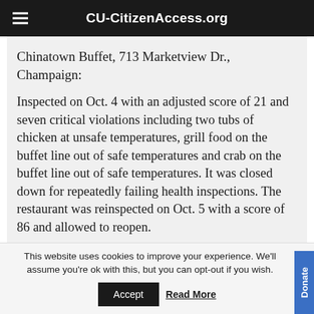CU-CitizenAccess.org
Chinatown Buffet, 713 Marketview Dr., Champaign:
Inspected on Oct. 4 with an adjusted score of 21 and seven critical violations including two tubs of chicken at unsafe temperatures, grill food on the buffet line out of safe temperatures and crab on the buffet line out of safe temperatures. It was closed down for repeatedly failing health inspections. The restaurant was reinspected on Oct. 5 with a score of 86 and allowed to reopen.
This website uses cookies to improve your experience. We'll assume you're ok with this, but you can opt-out if you wish.